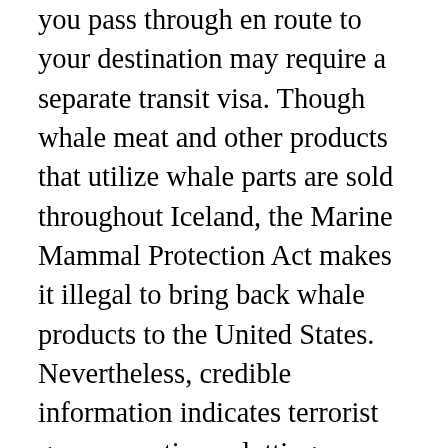you pass through en route to your destination may require a separate transit visa. Though whale meat and other products that utilize whale parts are sold throughout Iceland, the Marine Mammal Protection Act makes it illegal to bring back whale products to the United States. Nevertheless, credible information indicates terrorist groups continue plotting possible attacks in Europe. Do not leave your valuables in parked vehicles, even if the vehicle is locked. Check with your airline in case you have connecting flights overseas as part of your journey to Iceland. All applications will be assessed by The ... Hotels outside Reykjavik and smaller hotels in the capital are not all accessible to